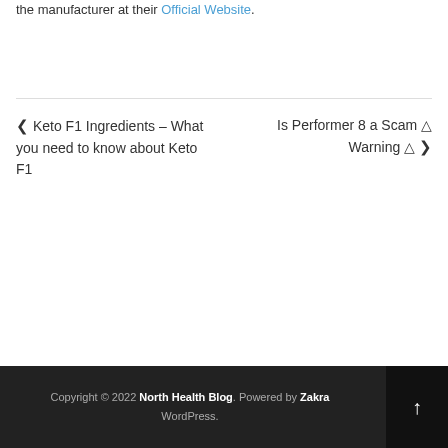the manufacturer at their Official Website.
← Keto F1 Ingredients – What you need to know about Keto F1    Is Performer 8 a Scam ⚠ Warning ⚠ →
Copyright © 2022 North Health Blog. Powered by Zakra WordPress.